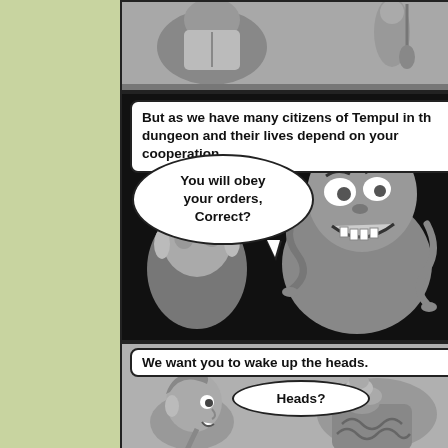[Figure (illustration): Comic page with three panels. Top panel shows figures in grayscale. Middle panel shows a menacing character with snakes in hair speaking 'You will obey your orders. Correct?' with text box 'But as we have many citizens of Tempul in the dungeon and their lives depend on your cooperation,'. Bottom panel shows 'We want you to wake up the heads.' and a smaller character saying 'Heads?']